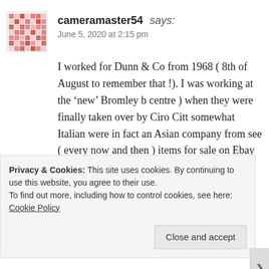cameramaster54 says:
June 5, 2020 at 2:15 pm
I worked for Dunn & Co from 1968 ( 8th of August to remember that !). I was working at the ‘new’ Bromley b centre ) when they were finally taken over by Ciro Citt somewhat Italian were in fact an Asian company from see ( every now and then ) items for sale on Ebay or se came from Dunn’s ( SERIOUSLY ! ) …always makes the things I used to sell have lasted so well 🙂
★ Like
Reply
Privacy & Cookies: This site uses cookies. By continuing to use this website, you agree to their use. To find out more, including how to control cookies, see here: Cookie Policy
Close and accept